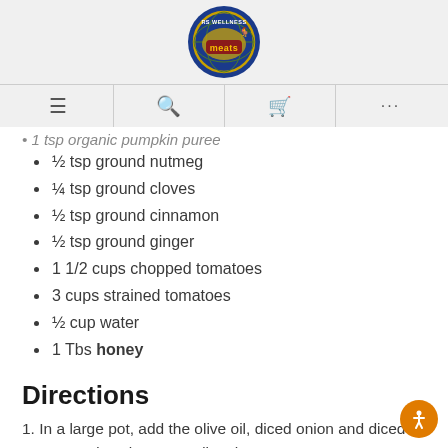[Figure (logo): RS Wellness Meats circular logo with globe and meat imagery]
Navigation bar with hamburger menu, search, cart, and more icons
1 tsp organic pumpkin puree (partial, cut off)
½ tsp ground nutmeg
¼ tsp ground cloves
½ tsp ground cinnamon
½ tsp ground ginger
1 1/2 cups chopped tomatoes
3 cups strained tomatoes
½ cup water
1 Tbs honey
Directions
1. In a large pot, add the olive oil, diced onion and diced carrots and cook over medium heat